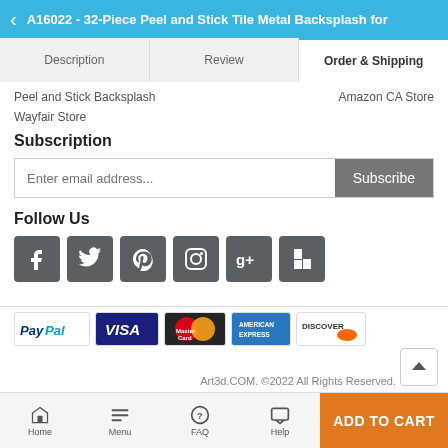A16022 - 32-Piece Peel and Stick Tile Metal Backsplash for
Description | Review | Order & Shipping
Peel and Stick Backsplash    Amazon CA Store
Wayfair Store
Subscription
Enter email address...  Subscribe
Follow Us
[Figure (infographic): Social media icons: Facebook, Twitter, Pinterest, Instagram, Google+, Houzz]
[Figure (infographic): Payment logos: PayPal, Visa, MasterCard, American Express, Discover]
Art3d.COM. ©2022 All Rights Reserved.
Home  Menu  FAQ  Help  ADD TO CART